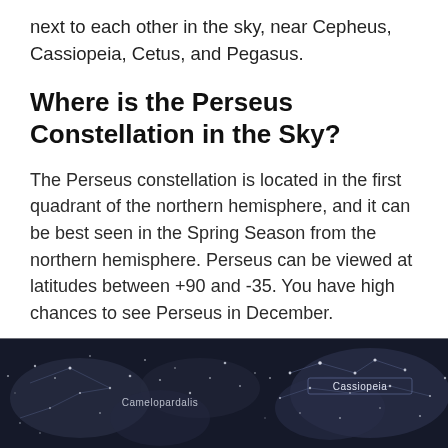next to each other in the sky, near Cepheus, Cassiopeia, Cetus, and Pegasus.
Where is the Perseus Constellation in the Sky?
The Perseus constellation is located in the first quadrant of the northern hemisphere, and it can be best seen in the Spring Season from the northern hemisphere. Perseus can be viewed at latitudes between +90 and -35. You have high chances to see Perseus in December.
[Figure (photo): Star map showing constellation regions including Camelopardalis and Cassiopeia labels on a dark navy background with constellation lines and star markers]